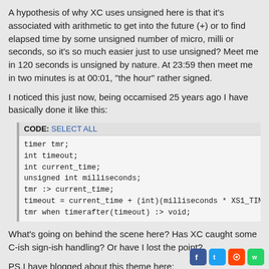A hypothesis of why XC uses unsigned here is that it's associated with arithmetic to get into the future (+) or to find elapsed time by some unsigned number of micro, milli or seconds, so it's so much easier just to use unsigned? Meet me in 120 seconds is unsigned by nature. At 23:59 then meet me in two minutes is at 00:01, "the hour" rather signed.
I noticed this just now, being occamised 25 years ago I have basically done it like this:
[Figure (screenshot): Code block with header 'CODE: SELECT ALL' and monospace code snippet declaring timer, int, unsigned int variables and timer operations in XC language.]
What's going on behind the scene here? Has XC caught some C-ish sign-ish handling? Or have I lost the point?
PS.I have blogged about this theme here:
http://www.teigfam.net/oyvind/home/tech ... multi-core (no money, no ads, no gifts received, just hobby)